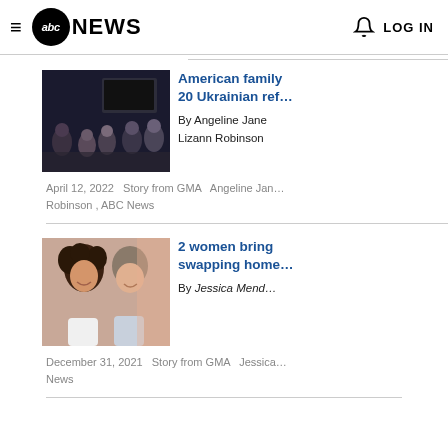abc NEWS  LOG IN
[Figure (photo): Group of people sitting in a circle in a dim room with a large TV in the background]
American family... 20 Ukrainian ref... By Angeline Jane Lizann Robinson
April 12, 2022  Story from GMA  Angeline Jan... Robinson , ABC News
[Figure (photo): Two smiling young women taking a selfie]
2 women bring... swapping home... By Jessica Mendo...
December 31, 2021  Story from GMA  Jessica... News